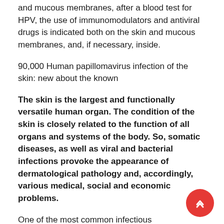and mucous membranes, after a blood test for HPV, the use of immunomodulators and antiviral drugs is indicated both on the skin and mucous membranes, and, if necessary, inside.
90,000 Human papillomavirus infection of the skin: new about the known
The skin is the largest and functionally versatile human organ. The condition of the skin is closely related to the function of all organs and systems of the body. So, somatic diseases, as well as viral and bacterial infections provoke the appearance of dermatological pathology and, accordingly, various medical, social and economic problems.
One of the most common infectious dermatological diseases caused by human papillomavirus (HPV) is known